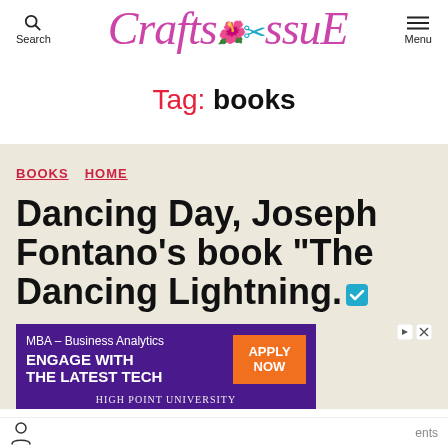Search | CraftssissuE | Menu
Tag: books
BOOKS  HOME
Dancing Day, Joseph Fontano’s book “The Dancing Lightning.
[Figure (screenshot): MBA – Business Analytics advertisement banner. Text: ENGAGE WITH THE LATEST TECH. Apply Now button. High Point University logo at bottom.]